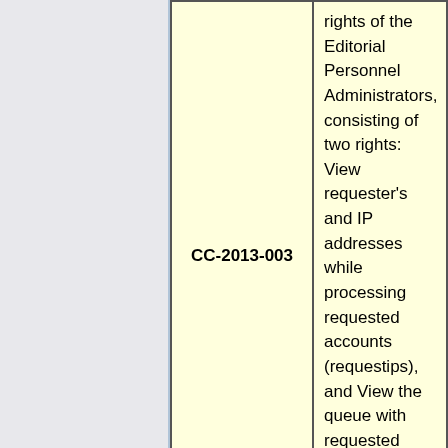| Code | Description |
| --- | --- |
| CC-2013-003 | rights of the Editorial Personnel Administrators, consisting of two rights: View requester's and IP addresses while processing requested accounts (requestips), and View the queue with requested accounts (confirmaccount). |
| CC-2013-004 | The Council authorizes the technical staff to implement Darren |